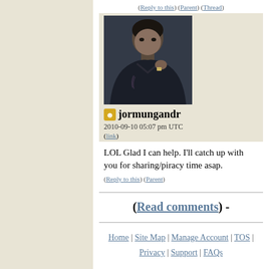(Reply to this) (Parent) (Thread)
[Figure (photo): Profile photo of a man in a dark jacket looking sideways, with tattoos visible and wearing a watch]
jormungandr
2010-09-10 05:07 pm UTC
(link)
LOL Glad I can help. I'll catch up with you for sharing/piracy time asap.
(Reply to this) (Parent)
(Read comments) -
Home | Site Map | Manage Account | TOS | Privacy | Support | FAQs